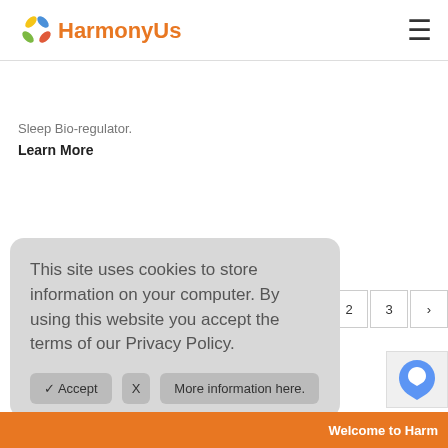[Figure (logo): HarmonyUs logo with multicolored flower/petal icon and orange text]
Sleep Bio-regulator.
Learn More
This site uses cookies to store information on your computer. By using this website you accept the terms of our Privacy Policy.
✓ Accept  X  More information here.
Welcome to Harm